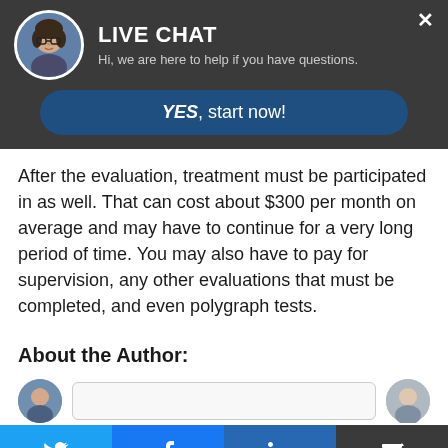[Figure (screenshot): Live chat popup header with circular avatar photo of a woman with glasses, title 'LIVE CHAT', subtitle 'Hi, we are here to help if you have questions.', close X button, and a blue 'YES, start now!' button below]
After the evaluation, treatment must be participated in as well. That can cost about $300 per month on average and may have to continue for a very long period of time. You may also have to pay for supervision, any other evaluations that must be completed, and even polygraph tests.
About the Author:
[Figure (screenshot): Partial view of author section with circular avatar photos and a name box, partially cut off at bottom]
[Figure (screenshot): Social sharing bar with Twitter, Facebook, LinkedIn, and a 'more' button at the bottom of the page]